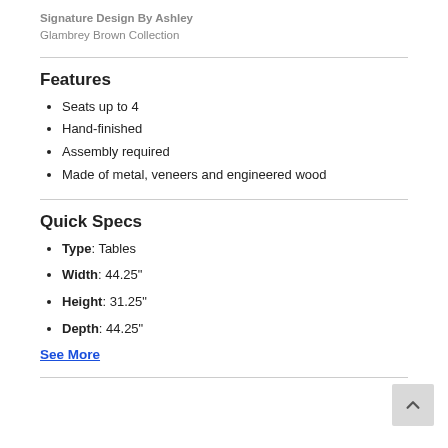Signature Design By Ashley
Glambrey Brown Collection
Features
Seats up to 4
Hand-finished
Assembly required
Made of metal, veneers and engineered wood
Quick Specs
Type: Tables
Width: 44.25"
Height: 31.25"
Depth: 44.25"
See More